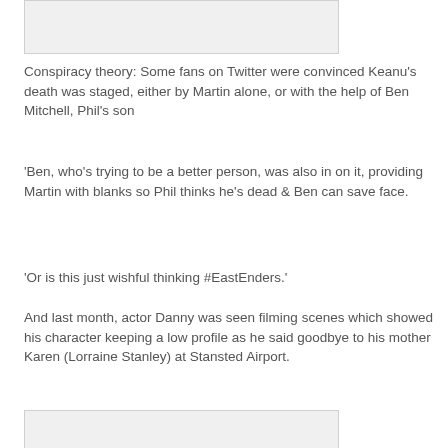[Figure (photo): Image placeholder at top of page]
Conspiracy theory: Some fans on Twitter were convinced Keanu's death was staged, either by Martin alone, or with the help of Ben Mitchell, Phil's son
‘Ben, who’s trying to be a better person, was also in on it, providing Martin with blanks so Phil thinks he’s dead & Ben can save face.
‘Or is this just wishful thinking #EastEnders.’
And last month, actor Danny was seen filming scenes which showed his character keeping a low profile as he said goodbye to his mother Karen (Lorraine Stanley) at Stansted Airport.
[Figure (photo): Image placeholder at bottom of page]